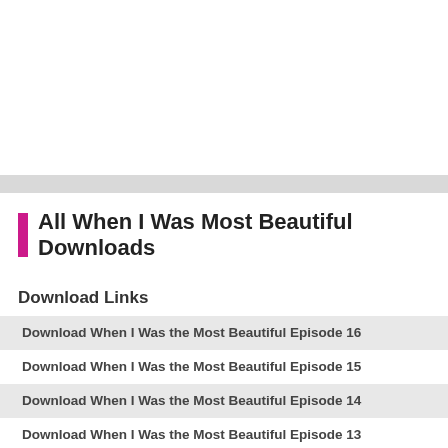All When I Was Most Beautiful Downloads
Download Links
Download When I Was the Most Beautiful Episode 16
Download When I Was the Most Beautiful Episode 15
Download When I Was the Most Beautiful Episode 14
Download When I Was the Most Beautiful Episode 13
Download When I Was the Most Beautiful Episode 12
Download When I Was the Most Beautiful Episode 11
Download When I Was the Most Beautiful Episode 10
Download When I Was the Most Beautiful Episode 9
Download When I Was the Most Beautiful Episode 8
Download When I Was the Most Beautiful Episode 7